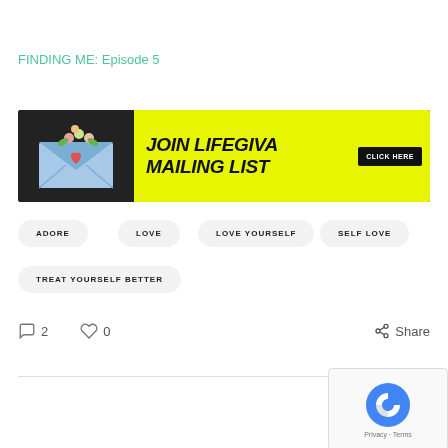FINDING ME: Episode 5
[Figure (illustration): Banner ad for joining Lifegiva mailing list. Yellow background with bold black italic text 'JOIN LIFEGIVA MAILING LIST' and a dark button 'CLICK HERE'. Left side shows envelope icon with flowers on dark background.]
ADORE
LOVE
LOVE YOURSELF
SELF LOVE
TREAT YOURSELF BETTER
2  0  Share
[Figure (photo): Partial photo at bottom of page showing what appears to be green plant leaves or foliage, with reCAPTCHA widget overlaid in the bottom right corner]